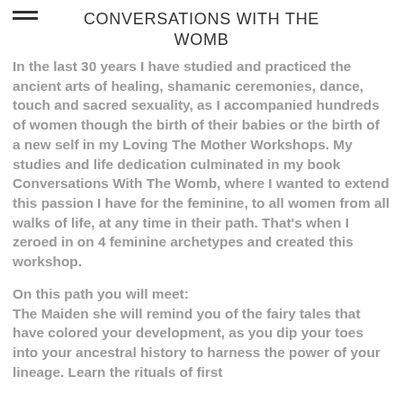CONVERSATIONS WITH THE WOMB
In the last 30 years I have studied and practiced the ancient arts of healing, shamanic ceremonies, dance, touch and sacred sexuality, as I accompanied hundreds of women though the birth of their babies or the birth of a new self in my Loving The Mother Workshops. My studies and life dedication culminated in my book Conversations With The Womb, where I wanted to extend this passion I have for the feminine, to all women from all walks of life, at any time in their path. That's when I zeroed in on 4 feminine archetypes and created this workshop.
On this path you will meet:
The Maiden she will remind you of the fairy tales that have colored your development, as you dip your toes into your ancestral history to harness the power of your lineage. Learn the rituals of first...